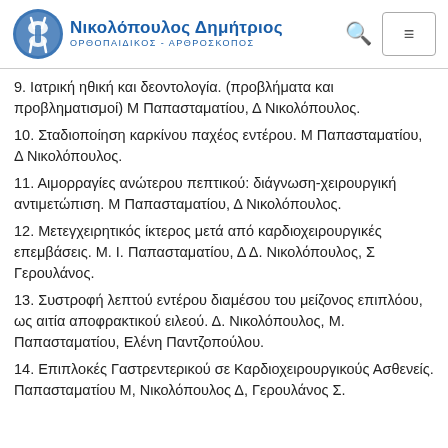Νικολόπουλος Δημήτριος — ΟΡΘΟΠΑΙΔΙΚΟΣ - ΑΡΘΡΟΣΚΟΠΟΣ
9. Ιατρική ηθική και δεοντολογία. (προβλήματα και προβληματισμοί) Μ Παπασταματίου, Δ Νικολόπουλος.
10. Σταδιοποίηση καρκίνου παχέος εντέρου. Μ Παπασταματίου, Δ Νικολόπουλος.
11. Αιμορραγίες ανώτερου πεπτικού: διάγνωση-χειρουργική αντιμετώπιση. Μ Παπασταματίου, Δ Νικολόπουλος.
12. Μετεγχειρητικός ίκτερος μετά από καρδιοχειρουργικές επεμβάσεις. Μ. Ι. Παπασταματίου, Δ Δ. Νικολόπουλος, Σ Γερουλάνος.
13. Συστροφή λεπτού εντέρου διαμέσου του μείζονος επιπλόου, ως αιτία αποφρακτικού ειλεού. Δ. Νικολόπουλος, Μ. Παπασταματίου, Ελένη Παντζοπούλου.
14. Επιπλοκές Γαστρεντερικού σε Καρδιοχειρουργικούς Ασθενείς. Παπασταματίου Μ, Νικολόπουλος Δ, Γερουλάνος Σ.